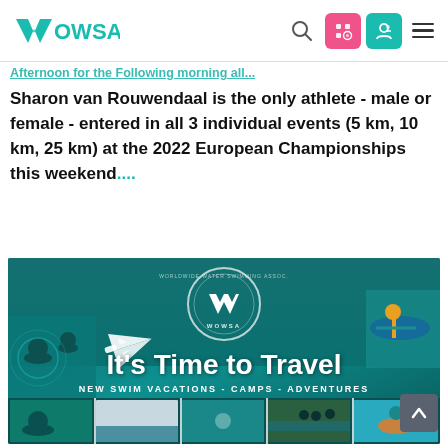WOWSA
Afternoon for the Following morning all...
Sharon van Rouwendaal is the only athlete - male or female - entered in all 3 individual events (5 km, 10 km, 25 km) at the 2022 European Championships this weekend....
[Figure (illustration): WOWSA promotional banner showing 'It's Time to Travel' with subtitle 'NEW SWIM VACATIONS - CAMPS - ADVENTURES', featuring aerial ocean swimmer photos, WOWSA circle logo, airplane graphic, and kayaker. Bottom row shows 5 small photos of swimmers in various open water settings.]